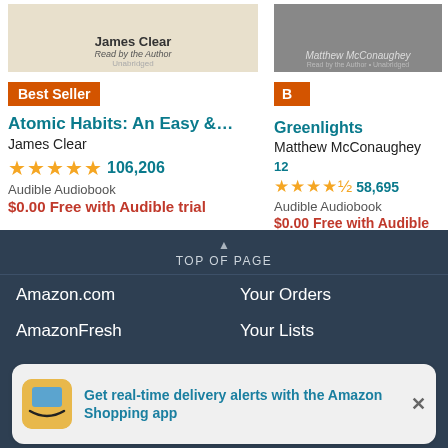[Figure (screenshot): Book cover for Atomic Habits by James Clear (audiobook)]
Best Seller
Atomic Habits: An Easy &...
James Clear
★★★★★ 106,206
Audible Audiobook
$0.00 Free with Audible trial
[Figure (screenshot): Book cover for Greenlights by Matthew McConaughey (audiobook)]
Greenlights
Matthew McConaughey
★★★★½ 58,695
Audible Audiobook
$0.00 Free with Audible trial
TOP OF PAGE
Amazon.com
Your Orders
AmazonFresh
Your Lists
Get real-time delivery alerts with the Amazon Shopping app